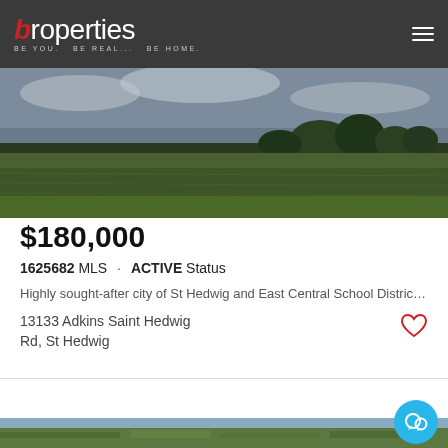b properties — BE YOU. BE REAL... BE HOME.
[Figure (photo): Outdoor field with green grass, trees in the background under a cloudy sky]
$180,000
1625682 MLS · ACTIVE Status
Highly sought-after city of St Hedwig and East Central School District. 5 acres, l...
13133 Adkins Saint Hedwig Rd, St Hedwig
Listing courtesy of Lori Fohn from The Realty Place
[Figure (photo): Aerial view of green farmland and fields stretching into the distance under a blue sky]